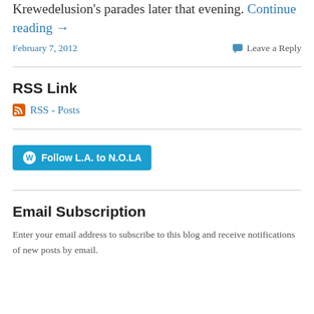Krewedelusion's parades later that evening. Continue reading →
February 7, 2012   Leave a Reply
RSS Link
RSS - Posts
Follow L.A. to N.O.LA
Email Subscription
Enter your email address to subscribe to this blog and receive notifications of new posts by email.